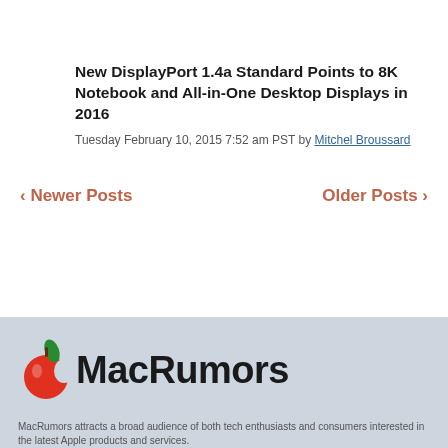New DisplayPort 1.4a Standard Points to 8K Notebook and All-in-One Desktop Displays in 2016
Tuesday February 10, 2015 7:52 am PST by Mitchel Broussard
< Newer Posts
Older Posts >
[Figure (logo): MacRumors logo with apple icon and text MacRumors]
MacRumors attracts a broad audience of both tech enthusiasts and consumers interested...